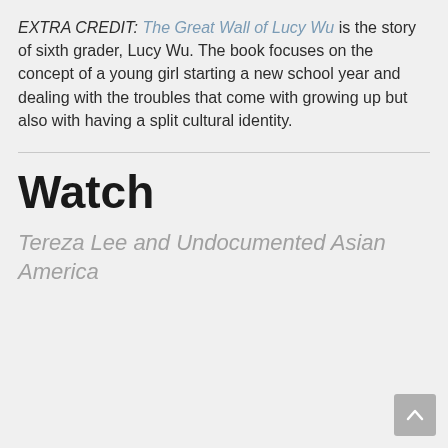EXTRA CREDIT: The Great Wall of Lucy Wu is the story of sixth grader, Lucy Wu. The book focuses on the concept of a young girl starting a new school year and dealing with the troubles that come with growing up but also with having a split cultural identity.
Watch
Tereza Lee and Undocumented Asian America